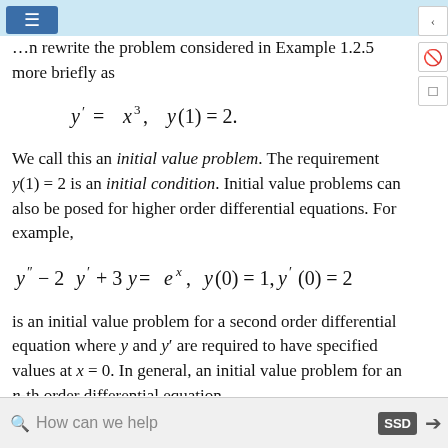…n rewrite the problem considered in Example 1.2.5 more briefly as
We call this an initial value problem. The requirement y(1) = 2 is an initial condition. Initial value problems can also be posed for higher order differential equations. For example,
is an initial value problem for a second order differential equation where y and y' are required to have specified values at x = 0. In general, an initial value problem for an n-th order differential equation